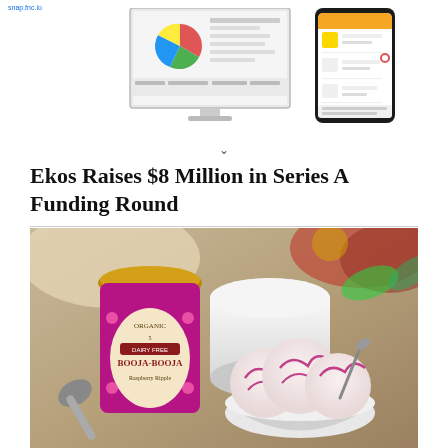[Figure (screenshot): Desktop monitor showing a dashboard with pie chart and data, alongside a smartphone showing an app interface]
Ekos Raises $8 Million in Series A Funding Round
[Figure (photo): Photo of Booja-Booja Raspberry Ripple dairy-free organic ice cream container next to a bowl of ice cream scoops with raspberries, with flowers and a white container in background]